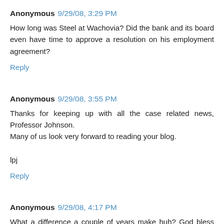Anonymous 9/29/08, 3:29 PM
How long was Steel at Wachovia? Did the bank and its board even have time to approve a resolution on his employment agreement?
Reply
Anonymous 9/29/08, 3:55 PM
Thanks for keeping up with all the case related news, Professor Johnson.
Many of us look very forward to reading your blog.

lpj
Reply
Anonymous 9/29/08, 4:17 PM
What a difference a couple of years make huh? God bless you KC....I only wish I could have had you as a Professor